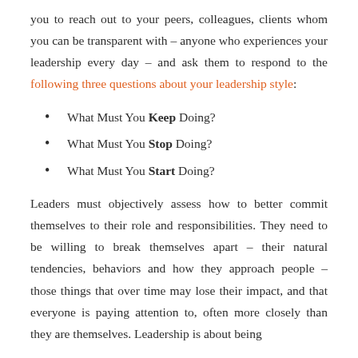you to reach out to your peers, colleagues, clients whom you can be transparent with – anyone who experiences your leadership every day – and ask them to respond to the following three questions about your leadership style:
What Must You Keep Doing?
What Must You Stop Doing?
What Must You Start Doing?
Leaders must objectively assess how to better commit themselves to their role and responsibilities. They need to be willing to break themselves apart – their natural tendencies, behaviors and how they approach people – those things that over time may lose their impact, and that everyone is paying attention to, often more closely than they are themselves. Leadership is about being